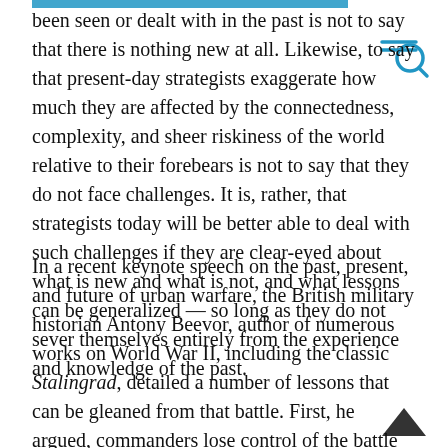been seen or dealt with in the past is not to say that there is nothing new at all. Likewise, to say that present-day strategists exaggerate how much they are affected by the connectedness, complexity, and sheer riskiness of the world relative to their forebears is not to say that they do not face challenges. It is, rather, that strategists today will be better able to deal with such challenges if they are clear-eyed about what is new and what is not, and what lessons can be generalized — so long as they do not sever themselves entirely from the experience and knowledge of the past.
In a recent keynote speech on the past, present, and future of urban warfare, the British military historian Antony Beevor, author of numerous works on World War II, including the classic Stalingrad, detailed a number of lessons that can be gleaned from that battle. First, he argued, commanders lose control of the battle more rapidly in urban environments than they do in others — it is, according to Beevor, intrinsically more